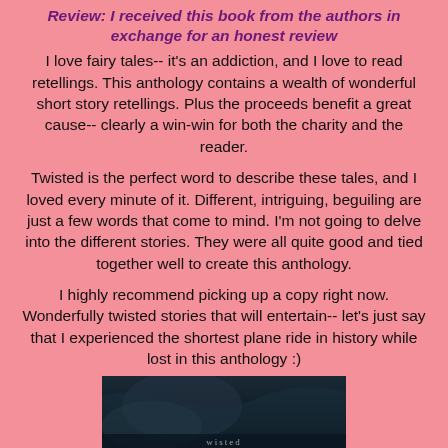Review: I received this book from the authors in exchange for an honest review
I love fairy tales-- it's an addiction, and I love to read retellings. This anthology contains a wealth of wonderful short story retellings. Plus the proceeds benefit a great cause-- clearly a win-win for both the charity and the reader.
Twisted is the perfect word to describe these tales, and I loved every minute of it. Different, intriguing, beguiling are just a few words that come to mind. I'm not going to delve into the different stories. They were all quite good and tied together well to create this anthology.
I highly recommend picking up a copy right now. Wonderfully twisted stories that will entertain-- let's just say that I experienced the shortest plane ride in history while lost in this anthology :)
[Figure (photo): Bottom portion of a book cover with dark moody imagery, partially visible at the bottom of the page]